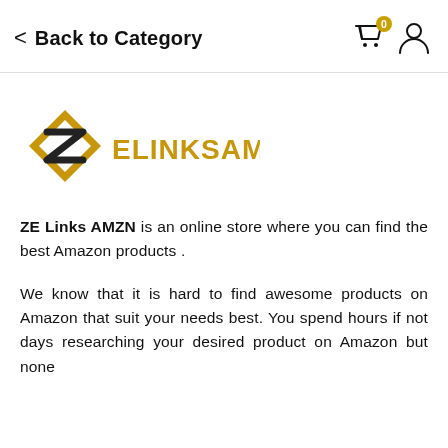< Back to Category
[Figure (logo): ZE Links AMZN logo: gold diamond/arrow geometric shape on left, gold text 'ELINKSAMZN' with dark Z letter integrated]
ZE Links AMZN is an online store where you can find the best Amazon products .
We know that it is hard to find awesome products on Amazon that suit your needs best. You spend hours if not days researching your desired product on Amazon but none